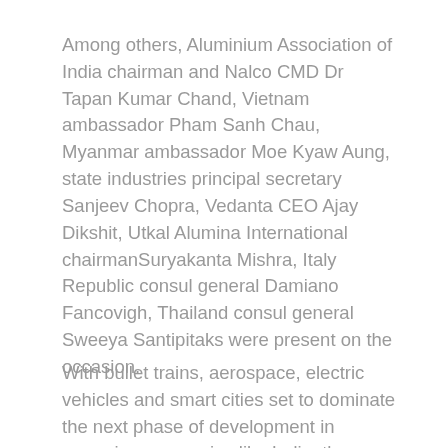Among others, Aluminium Association of India chairman and Nalco CMD Dr Tapan Kumar Chand, Vietnam ambassador Pham Sanh Chau, Myanmar ambassador Moe Kyaw Aung, state industries principal secretary Sanjeev Chopra, Vedanta CEO Ajay Dikshit, Utkal Alumina International chairmanSuryakanta Mishra, Italy Republic consul general Damiano Fancovigh, Thailand consul general  Sweeya Santipitaks were present on the occasion.
With bullet trains, aerospace, electric vehicles and smart cities set to dominate the next phase of development in emerging economies like India, the